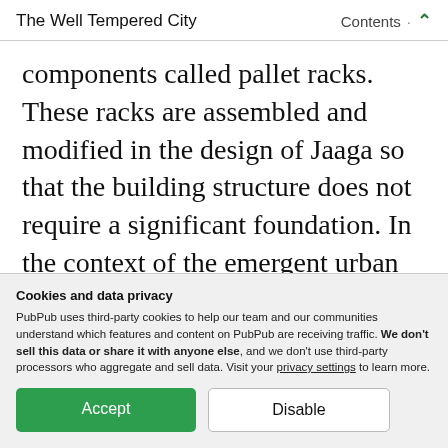The Well Tempered City · Contents ↑
components called pallet racks. These racks are assembled and modified in the design of Jaaga so that the building structure does not require a significant foundation. In the context of the emergent urban constellation and architectural density of Bangalore, Jaaga works as a [speculative design for future innovation in…]
Cookies and data privacy
PubPub uses third-party cookies to help our team and our communities understand which features and content on PubPub are receiving traffic. We don't sell this data or share it with anyone else, and we don't use third-party processors who aggregate and sell data. Visit your privacy settings to learn more.